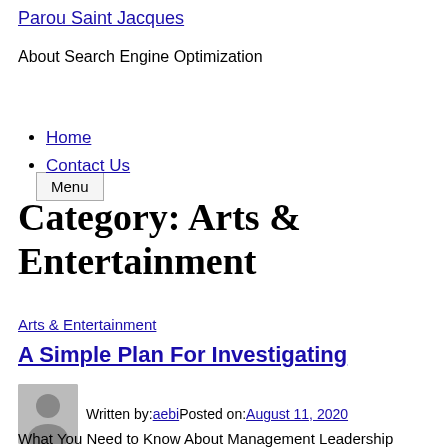Parou Saint Jacques
About Search Engine Optimization
Menu
Home
Contact Us
Category: Arts & Entertainment
Arts & Entertainment
A Simple Plan For Investigating
Written by:aebiPosted on:August 11, 2020
What You Need to Know About Management Leadership